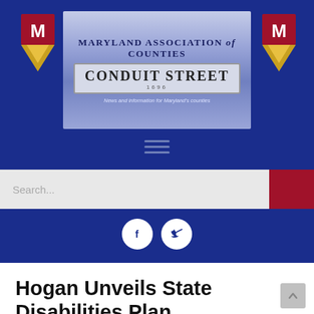[Figure (logo): Maryland Association of Counties (MACo) Conduit Street header banner with two MACo shield logos on left and right, banner text 'MARYLAND ASSOCIATION of COUNTIES', 'CONDUIT STREET 1696', and tagline 'News and information for Maryland's counties'. Blue background with hamburger menu, search bar, and social media icons (Facebook and Twitter).]
Hogan Unveils State Disabilities Plan